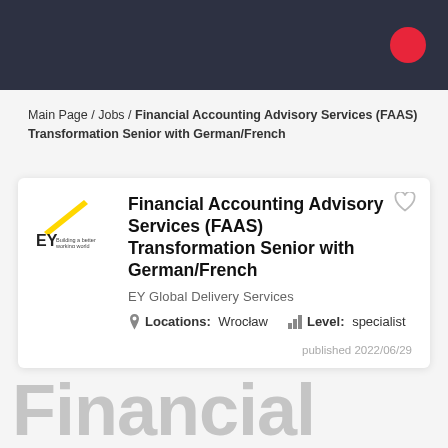Main Page / Jobs / Financial Accounting Advisory Services (FAAS) Transformation Senior with German/French
Financial Accounting Advisory Services (FAAS) Transformation Senior with German/French
EY Global Delivery Services
Locations: Wrocław   Level: specialist
published 2022/06/29
Financial